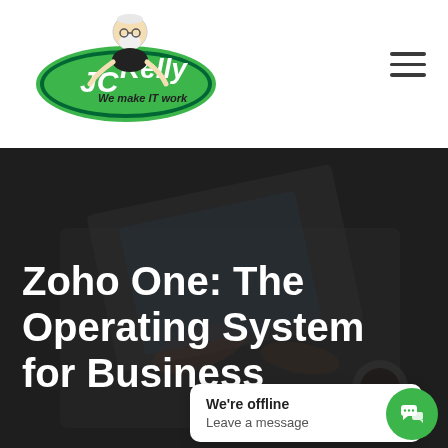[Figure (logo): JC Kelly logo — cartoon figure of a man with beard and glasses leaning over a green oval badge with 'JC Kelly' text and tagline 'We make IT work']
[Figure (other): Hamburger menu icon (three horizontal lines) in top right corner]
[Figure (photo): Dark background hero image showing hands working on a tablet/laptop, with dark overlay. Text overlay reads 'Zoho One: The Operating System for Business']
Zoho One: The Operating System for Business
We're offline
Leave a message